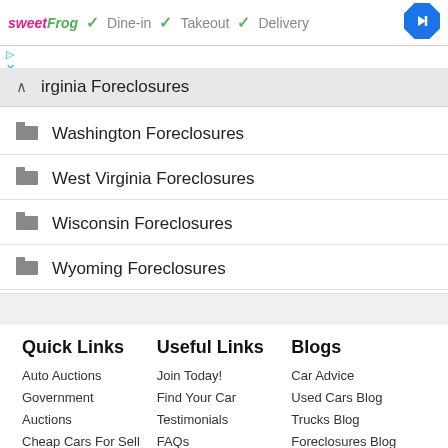[Figure (other): sweetFrog advertisement banner with Dine-in, Takeout, Delivery checkmarks and navigation icon]
Virginia Foreclosures (expanded, highlighted)
Washington Foreclosures
West Virginia Foreclosures
Wisconsin Foreclosures
Wyoming Foreclosures
Quick Links
Useful Links
Blogs
Auto Auctions
Government
Auctions
Cheap Cars For Sell
Trucks
Join Today!
Find Your Car
Testimonials
FAQs
Contact Us
Car Advice
Used Cars Blog
Trucks Blog
Foreclosures Blog
General Tips